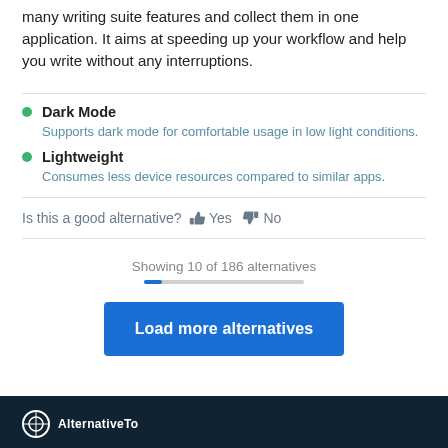many writing suite features and collect them in one application. It aims at speeding up your workflow and help you write without any interruptions.
Dark Mode — Supports dark mode for comfortable usage in low light conditions.
Lightweight — Consumes less device resources compared to similar apps.
Is this a good alternative? 👍 Yes 👎 No
Showing 10 of 186 alternatives
Load more alternatives
AlternativeTo